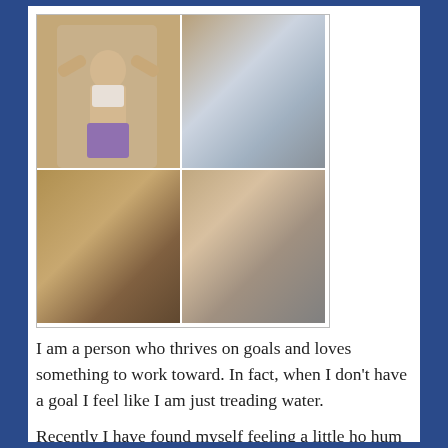[Figure (photo): A 2x2 grid of four fitness progress photos showing a woman in workout clothes posing to display midsection. Top row shows two photos in a purple/white sports bra and purple shorts. Bottom row shows two photos in a gray sports bra and black shorts. Watermark '@FITQUESTMOM' appears in the bottom-right photo.]
I am a person who thrives on goals and loves something to work toward.  In fact, when I don't have a goal I feel like I am just treading water.
Recently I have found myself feeling a little ho hum when it comes to my fitness and nutrition